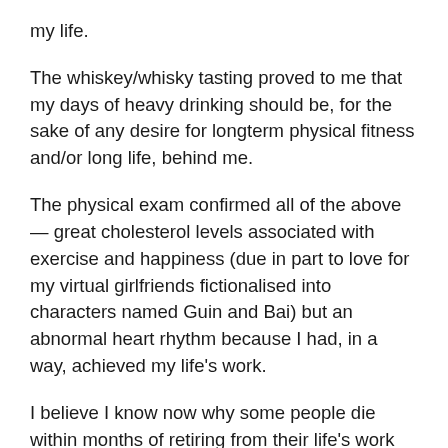my life.
The whiskey/whisky tasting proved to me that my days of heavy drinking should be, for the sake of any desire for longterm physical fitness and/or long life, behind me.
The physical exam confirmed all of the above — great cholesterol levels associated with exercise and happiness (due in part to love for my virtual girlfriends fictionalised into characters named Guin and Bai) but an abnormal heart rhythm because I had, in a way, achieved my life's work.
I believe I know now why some people die within months of retiring from their life's work — their thoughts aren't trying to the rest of their bodies to stay healthy or aren't pushed to work beyond their normative capabilities